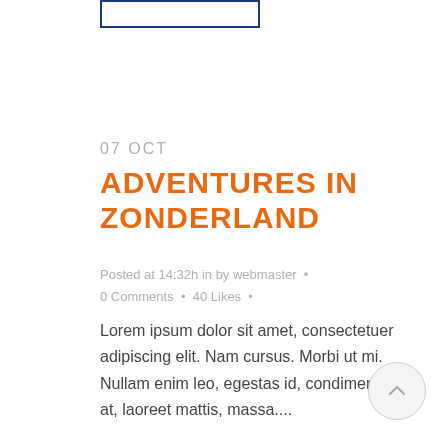[Figure (other): Blue bordered rectangle button at top]
07 OCT
ADVENTURES IN ZONDERLAND
Posted at 14:32h in by webmaster • 0 Comments • 40 Likes •
Lorem ipsum dolor sit amet, consectetuer adipiscing elit. Nam cursus. Morbi ut mi. Nullam enim leo, egestas id, condimentum at, laoreet mattis, massa....
[Figure (other): Circular scroll-to-top button with upward arrow]